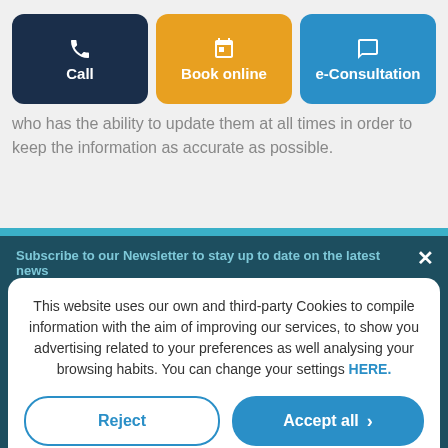[Figure (screenshot): Three action buttons: Call (dark navy), Book online (orange/amber), e-Consultation (blue)]
...of these pages are provided directly by the doctor who has the ability to update them at all times in order to keep the information as accurate as possible.
Subscribe to our Newsletter to stay up to date on the latest news
This website uses our own and third-party Cookies to compile information with the aim of improving our services, to show you advertising related to your preferences as well analysing your browsing habits. You can change your settings HERE.
Reject
Accept all
Custom configuration | Cookies Policy | Privacy Policy